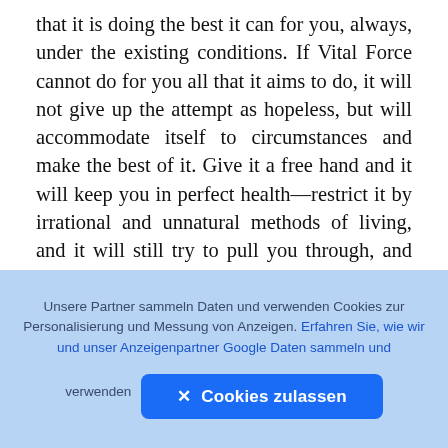that it is doing the best it can for you, always, under the existing conditions. If Vital Force cannot do for you all that it aims to do, it will not give up the attempt as hopeless, but will accommodate itself to circumstances and make the best of it. Give it a free hand and it will keep you in perfect health—restrict it by irrational and unnatural methods of living, and it will still try to pull you through, and will serve you until the end, to the best of its ability, in spite of your ingratitude and stupidity. It will fight for you to the finish. The principle of accommodation is mani[fested] all through all forms of life. A seed dropped in[to a] crevice of a rock, when it begins to grow either becomes squeezed into the shape of the rock, or, if
[Figure (other): Dark rounded square button with a camera/upload icon (circle with up arrow) overlaid on the text area]
Unsere Partner sammeln Daten und verwenden Cookies zur Personalisierung und Messung von Anzeigen. Erfahren Sie, wie wir und unser Anzeigenpartner Google Daten sammeln und verwenden
✕ Cookies zulassen